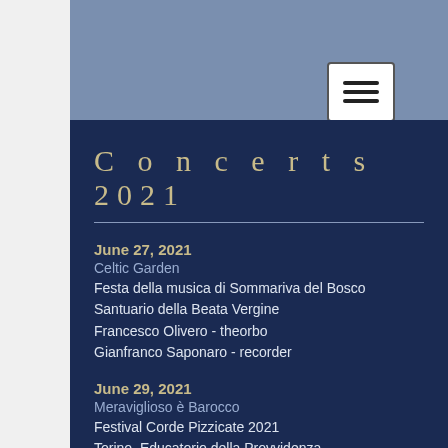[Figure (screenshot): Mobile website menu hamburger button on blue-gray header background]
Concerts 2021
June 27, 2021 | Celtic Garden | Festa della musica di Sommariva del Bosco | Santuario della Beata Vergine | Francesco Olivero - theorbo | Gianfranco Saponaro - recorder
June 29, 2021 | Meraviglioso è Barocco | Festival Corde Pizzicate 2021 | Torino, Educatorio della Provvidenza | Francesco Bergamini - baroque violin